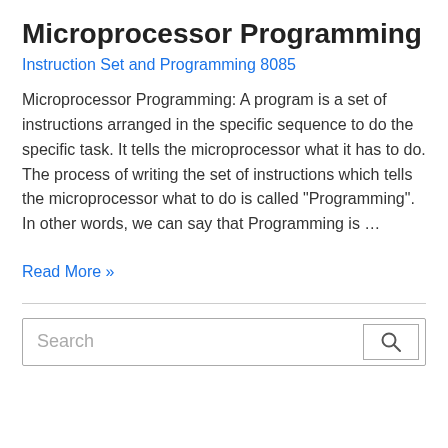Microprocessor Programming
Instruction Set and Programming 8085
Microprocessor Programming: A program is a set of instructions arranged in the specific sequence to do the specific task. It tells the microprocessor what it has to do. The process of writing the set of instructions which tells the microprocessor what to do is called “Programming”. In other words, we can say that Programming is …
Read More »